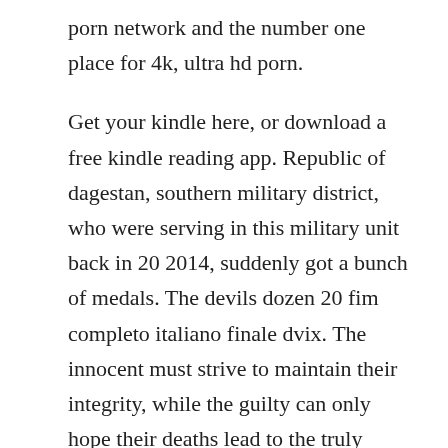porn network and the number one place for 4k, ultra hd porn.
Get your kindle here, or download a free kindle reading app. Republic of dagestan, southern military district, who were serving in this military unit back in 20 2014, suddenly got a bunch of medals. The devils dozen 20 fim completo italiano finale dvix. The innocent must strive to maintain their integrity, while the guilty can only hope their deaths lead to the truly innocent walking out alive. The devil s whore released as the devil s